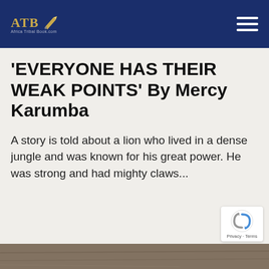ATB — Africa Tribal Book (logo with pen icon and navigation hamburger menu)
'EVERYONE HAS THEIR WEAK POINTS' By Mercy Karumba
A story is told about a lion who lived in a dense jungle and was known for his great power. He was strong and had mighty claws...
[Figure (photo): Bottom strip showing a partial photograph, appears to be an outdoor/nature scene]